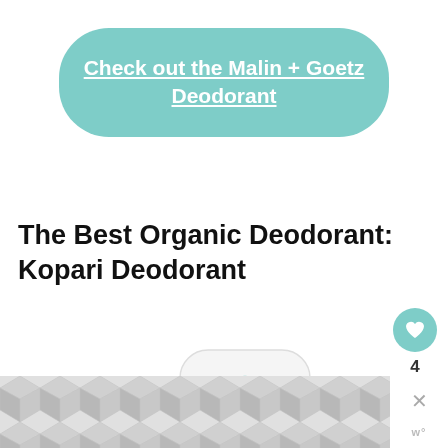[Figure (other): Teal pill-shaped button with white bold underlined text reading 'Check out the Malin + Goetz Deodorant']
The Best Organic Deodorant: Kopari Deodorant
[Figure (photo): White Kopari Coconut Deodorant stick with teal Original logo badge and 'coconut oil' text at bottom]
[Figure (other): Sidebar UI: teal heart icon button, count '4', share icon, WHAT'S NEXT arrow label, thumbnail image, 'In Search of the Best...' text]
[Figure (other): Bottom decorative geometric diamond/cube pattern in gray and white, with X close button and WP logo at bottom right]